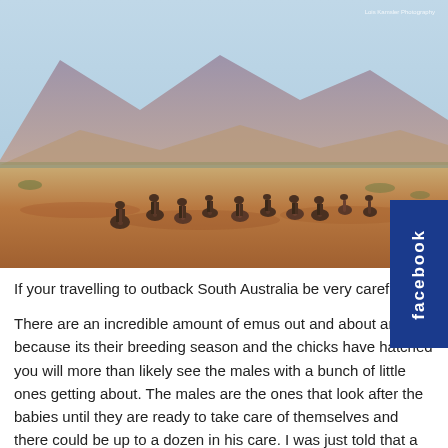[Figure (photo): A group of emus walking across red outback terrain with purple mountain ranges in the background under a light blue sky. Australian outback landscape with sparse scrubby vegetation.]
If your travelling to outback South Australia be very careful.
There are an incredible amount of emus out and about and because its their breeding season and the chicks have hatched you will more than likely see the males with a bunch of little ones getting about. The males are the ones that look after the babies until they are ready to take care of themselves and there could be up to a dozen in his care. I was just told that a male was spotted